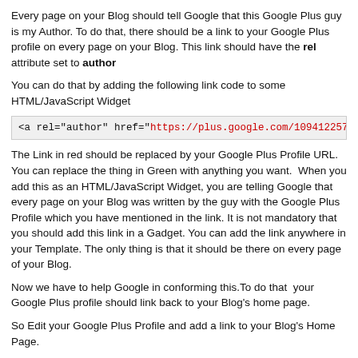Every page on your Blog should tell Google that this Google Plus guy is my Author. To do that, there should be a link to your Google Plus profile on every page on your Blog. This link should have the rel attribute set to author
You can do that by adding the following link code to some HTML/JavaScript Widget
<a rel="author" href="https://plus.google.com/109412257237
The Link in red should be replaced by your Google Plus Profile URL. You can replace the thing in Green with anything you want. When you add this as an HTML/JavaScript Widget, you are telling Google that every page on your Blog was written by the guy with the Google Plus Profile which you have mentioned in the link. It is not mandatory that you should add this link in a Gadget. You can add the link anywhere in your Template. The only thing is that it should be there on every page of your Blog.
Now we have to help Google in conforming this.To do that  your Google Plus profile should link back to your Blog's home page.
So Edit your Google Plus Profile and add a link to your Blog's Home Page.
Aneesh Joseph
A brief description of you